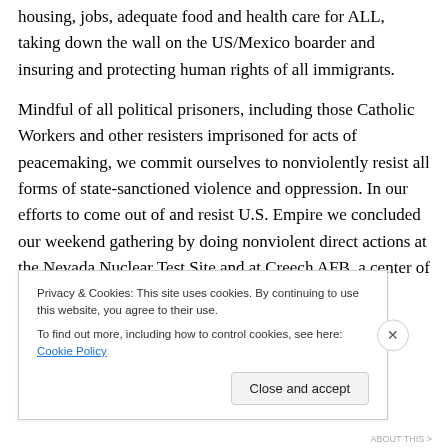housing, jobs, adequate food and health care for ALL, taking down the wall on the US/Mexico boarder and insuring and protecting human rights of all immigrants.
Mindful of all political prisoners, including those Catholic Workers and other resisters imprisoned for acts of peacemaking, we commit ourselves to nonviolently resist all forms of state-sanctioned violence and oppression. In our efforts to come out of and resist U.S. Empire we concluded our weekend gathering by doing nonviolent direct actions at the Nevada Nuclear Test Site and at Creech AFB, a center of U.S. drone warfare. In solidarity
Privacy & Cookies: This site uses cookies. By continuing to use this website, you agree to their use.
To find out more, including how to control cookies, see here: Cookie Policy
Close and accept